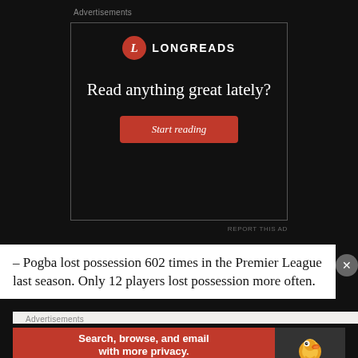Advertisements
[Figure (screenshot): Longreads advertisement: dark background, Longreads logo (red circle with L), text 'Read anything great lately?' and red 'Start reading' button]
REPORT THIS AD
– Pogba lost possession 602 times in the Premier League last season. Only 12 players lost possession more often.
Advertisements
[Figure (screenshot): DuckDuckGo advertisement: red background left side with 'Search, browse, and email with more privacy. All in One Free App', dark right side with DuckDuckGo duck logo]